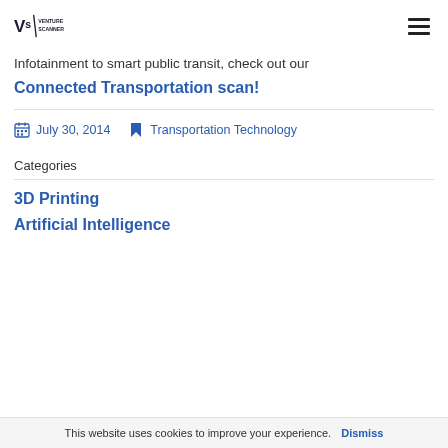Venture Scanner
Infotainment to smart public transit, check out our Connected Transportation scan!
July 30, 2014   Transportation Technology
Categories
3D Printing
Artificial Intelligence
This website uses cookies to improve your experience. Dismiss